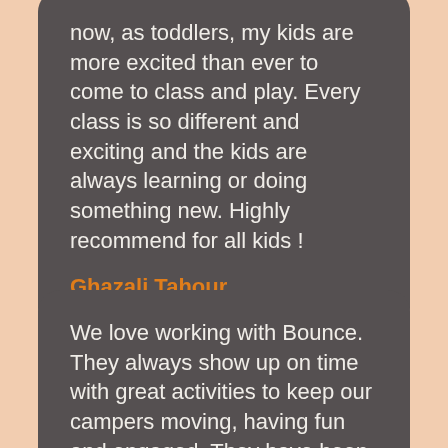now, as toddlers, my kids are more excited than ever to come to class and play. Every class is so different and exciting and the kids are always learning or doing something new. Highly recommend for all kids !
Ghazali Tahour
We love working with Bounce. They always show up on time with great activities to keep our campers moving, having fun and engaged. They have been a great partner and